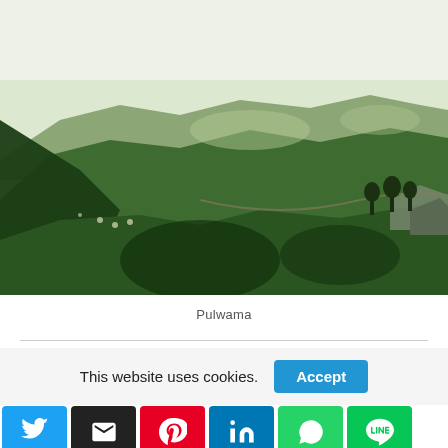[Figure (photo): Aerial view of green rolling hills and mountains in Pulwama, with lush vegetation, dark shadows in valleys, scattered trees, and a pale sky at the top.]
Pulwama
This website uses cookies.
[Figure (other): Cookie accept button (blue) labeled 'Accept']
[Figure (other): Social share buttons row: Twitter (blue), Email (black), Pinterest (red), LinkedIn (blue), WhatsApp (green), LINE (green)]